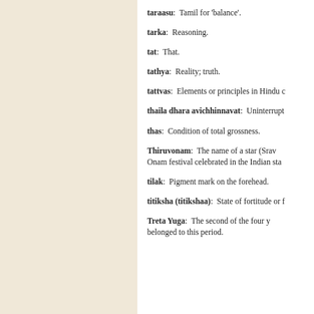taraasu: Tamil for 'balance'.
tarka: Reasoning.
tat: That.
tathya: Reality; truth.
tattvas: Elements or principles in Hindu c...
thaila dhara avichhinnavat: Uninterrupt...
thas: Condition of total grossness.
Thiruvonam: The name of a star (Srav... Onam festival celebrated in the Indian sta...
tilak: Pigment mark on the forehead.
titiksha (titikshaa): State of fortitude or f...
Treta Yuga: The second of the four y... belonged to this period.